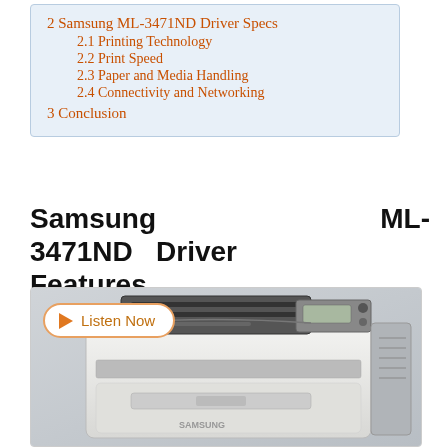2 Samsung ML-3471ND Driver Specs
2.1 Printing Technology
2.2 Print Speed
2.3 Paper and Media Handling
2.4 Connectivity and Networking
3 Conclusion
Samsung ML-3471ND Driver Features
[Figure (photo): Photo of a Samsung ML-3471ND laser printer, white and gray, with a Listen Now audio button overlay in the top-left corner of the image.]